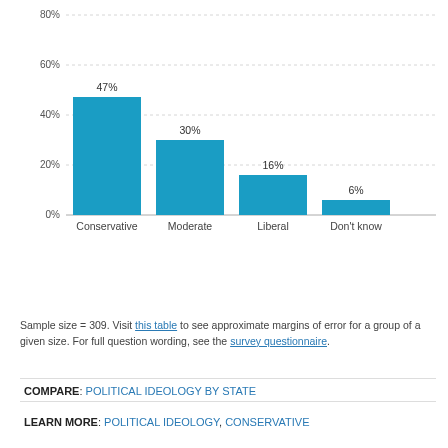[Figure (bar-chart): ]
Sample size = 309. Visit this table to see approximate margins of error for a group of a given size. For full question wording, see the survey questionnaire.
COMPARE: POLITICAL IDEOLOGY BY STATE
LEARN MORE: POLITICAL IDEOLOGY, CONSERVATIVE